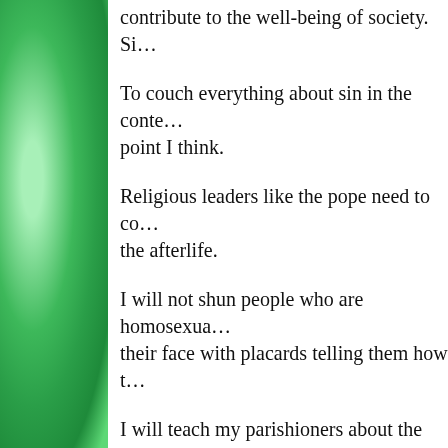contribute to the well-being of society. Si…
To couch everything about sin in the conte… point I think.
Religious leaders like the pope need to co… the afterlife.
I will not shun people who are homosexua… their face with placards telling them how t…
I will teach my parishioners about the trut… of marriage discovered by everyone in the… Scripture and Sacred Tradition.